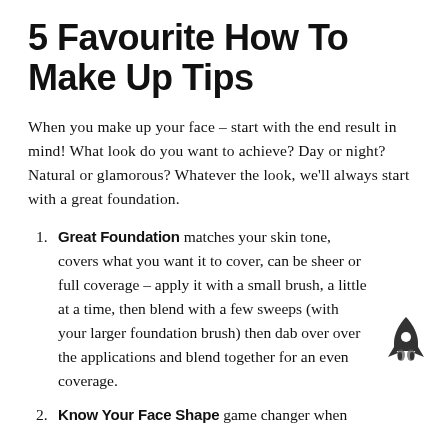5 Favourite How To Make Up Tips
When you make up your face – start with the end result in mind! What look do you want to achieve? Day or night? Natural or glamorous? Whatever the look, we'll always start with a great foundation.
Great Foundation matches your skin tone, covers what you want it to cover, can be sheer or full coverage – apply it with a small brush, a little at a time, then blend with a few sweeps (with your larger foundation brush) then dab over over the applications and blend together for an even coverage.
Know Your Face Shape game changer when